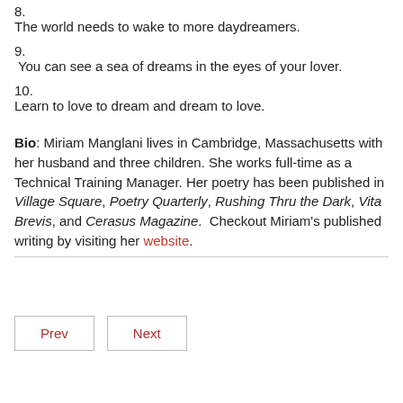8.
The world needs to wake to more daydreamers.
9.
 You can see a sea of dreams in the eyes of your lover.
10.
Learn to love to dream and dream to love.
Bio: Miriam Manglani lives in Cambridge, Massachusetts with her husband and three children. She works full-time as a Technical Training Manager. Her poetry has been published in Village Square, Poetry Quarterly, Rushing Thru the Dark, Vita Brevis, and Cerasus Magazine.  Checkout Miriam's published writing by visiting her website.
Prev  Next